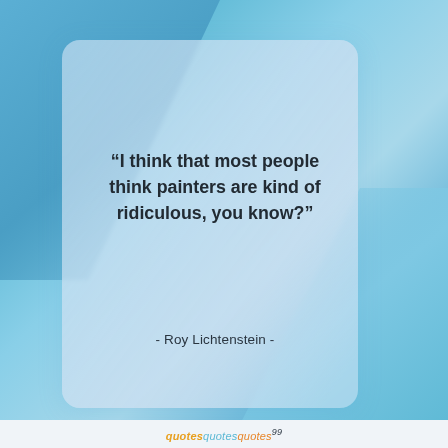[Figure (illustration): Blue gradient background with geometric diagonal shapes and a semi-transparent frosted card overlay containing a quote by Roy Lichtenstein.]
“I think that most people think painters are kind of ridiculous, you know?”
- Roy Lichtenstein -
quotesquotesquotes